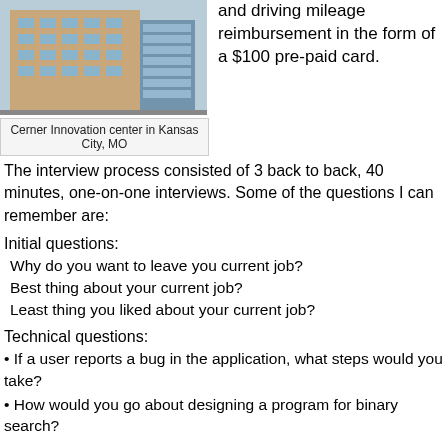[Figure (photo): Photo of Cerner Innovation center building in Kansas City, MO — a multi-story building with blue-tinted windows]
Cerner Innovation center in Kansas City, MO
and driving mileage reimbursement in the form of a $100 pre-paid card.
The interview process consisted of 3 back to back, 40 minutes, one-on-one interviews. Some of the questions I can remember are:
Initial questions:
Why do you want to leave you current job?
Best thing about your current job?
Least thing you liked about your current job?
Technical questions:
• If a user reports a bug in the application, what steps would you take?
• How would you go about designing a program for binary search?